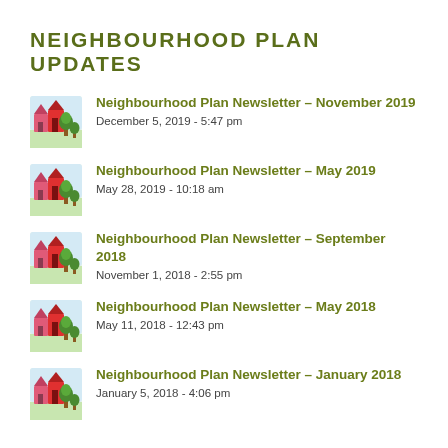NEIGHBOURHOOD PLAN UPDATES
Neighbourhood Plan Newsletter – November 2019
December 5, 2019 - 5:47 pm
Neighbourhood Plan Newsletter – May 2019
May 28, 2019 - 10:18 am
Neighbourhood Plan Newsletter – September 2018
November 1, 2018 - 2:55 pm
Neighbourhood Plan Newsletter – May 2018
May 11, 2018 - 12:43 pm
Neighbourhood Plan Newsletter – January 2018
January 5, 2018 - 4:06 pm